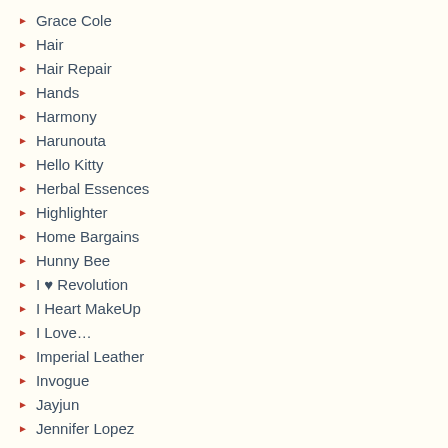Grace Cole
Hair
Hair Repair
Hands
Harmony
Harunouta
Hello Kitty
Herbal Essences
Highlighter
Home Bargains
Hunny Bee
I ♥ Revolution
I Heart MakeUp
I Love…
Imperial Leather
Invogue
Jayjun
Jennifer Lopez
Jess
Jesus Del Pozo